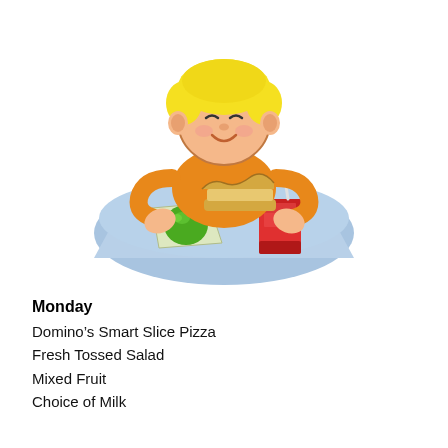[Figure (illustration): Clip art of a smiling boy with blonde hair wearing an orange shirt, holding a sandwich. On a blue table in front of him is a green apple on a piece of paper and a red juice box with a straw.]
Monday
Domino's Smart Slice Pizza
Fresh Tossed Salad
Mixed Fruit
Choice of Milk